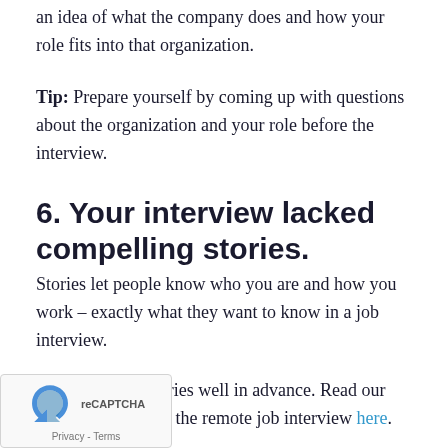an idea of what the company does and how your role fits into that organization.
Tip: Prepare yourself by coming up with questions about the organization and your role before the interview.
6. Your interview lacked compelling stories.
Stories let people know who you are and how you work – exactly what they want to know in a job interview.
Tip: Prepare stories well in advance. Read our post on how to ace the remote job interview here.